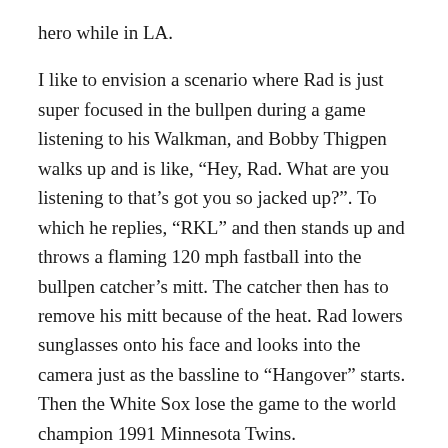hero while in LA.
I like to envision a scenario where Rad is just super focused in the bullpen during a game listening to his Walkman, and Bobby Thigpen walks up and is like, “Hey, Rad. What are you listening to that’s got you so jacked up?”. To which he replies, “RKL” and then stands up and throws a flaming 120 mph fastball into the bullpen catcher’s mitt. The catcher then has to remove his mitt because of the heat. Rad lowers sunglasses onto his face and looks into the camera just as the bassline to “Hangover” starts. Then the White Sox lose the game to the world champion 1991 Minnesota Twins.